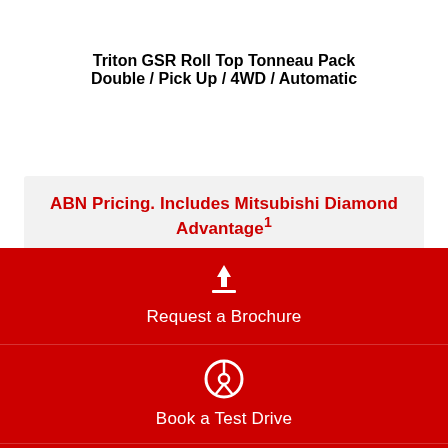Triton GSR Roll Top Tonneau Pack Double / Pick Up / 4WD / Automatic
ABN Pricing. Includes Mitsubishi Diamond Advantage¹
$62,990# DRIVEAWAY
Request a Brochure
Book a Test Drive